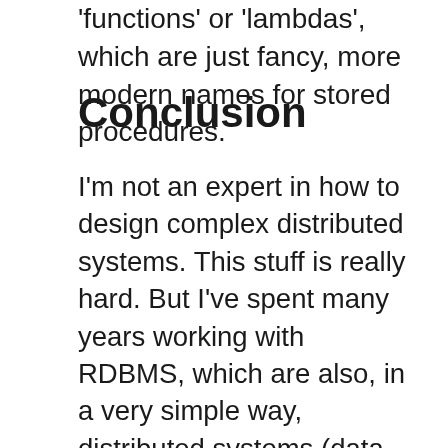'functions' or 'lambdas', which are just fancy, more modern names for stored procedures.
Conclusion
I'm not an expert in how to design complex distributed systems. This stuff is really hard. But I've spent many years working with RDBMS, which are also, in a very simple way, distributed systems (data on one server, client logic on another one). A very significant amount of performance problems with RDBMS is related to the simple fact of clients making way too many calls to the database for what could be implemented in a single SQL query. Within the database, once your logic has reached the kernel, stuff gets executed really really fast. Adding more logic to a query is going to cause far less trouble than adding more queries. Does your application take into account these things? Especially, if you're using an ORM that generates